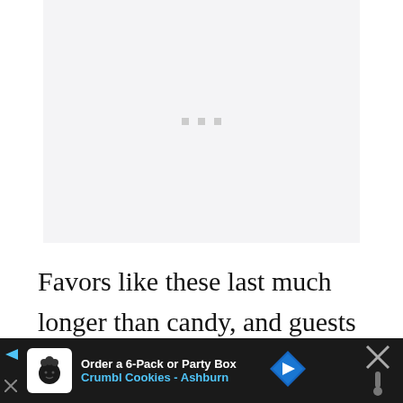[Figure (other): Loading placeholder area with three small grey squares as loading indicator dots, on a light grey background]
Favors like these last much longer than candy, and guests will get plenty of use out of it. The gift will remind
[Figure (screenshot): Advertisement banner at bottom: dark background with Crumbl Cookies ad. Shows chef logo icon, text 'Order a 6-Pack or Party Box' and 'Crumbl Cookies - Ashburn' in blue, a blue navigation diamond icon, and an X close button with a thermometer icon on the right.]